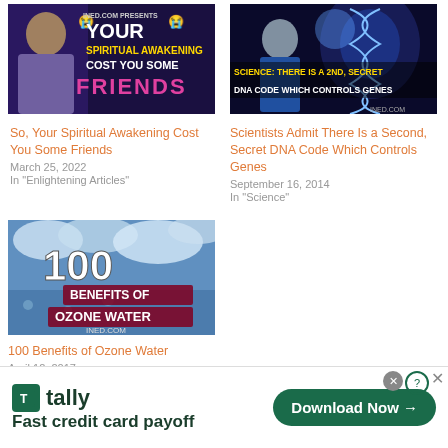[Figure (screenshot): Thumbnail image for article 'So, Your Spiritual Awakening Cost You Some Friends' - shows a woman with text overlay on dark background]
So, Your Spiritual Awakening Cost You Some Friends
March 25, 2022
In "Enlightening Articles"
[Figure (screenshot): Thumbnail image for 'Scientists Admit There Is a Second, Secret DNA Code Which Controls Genes' - shows scientist/DNA imagery]
Scientists Admit There Is a Second, Secret DNA Code Which Controls Genes
September 16, 2014
In "Science"
[Figure (screenshot): Thumbnail image for '100 Benefits of Ozone Water' - shows water/ozone imagery with large text overlay]
100 Benefits of Ozone Water
April 12, 2017
In "Health"
[Figure (screenshot): Tally app advertisement banner - Fast credit card payoff - Download Now button]